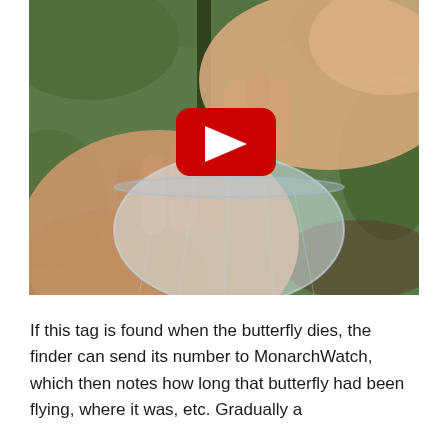[Figure (screenshot): YouTube video thumbnail showing two hands holding and tagging a butterfly with a net visible in the background against green foliage. A red YouTube play button is overlaid in the center.]
If this tag is found when the butterfly dies, the finder can send its number to MonarchWatch, which then notes how long that butterfly had been flying, where it was, etc. Gradually a